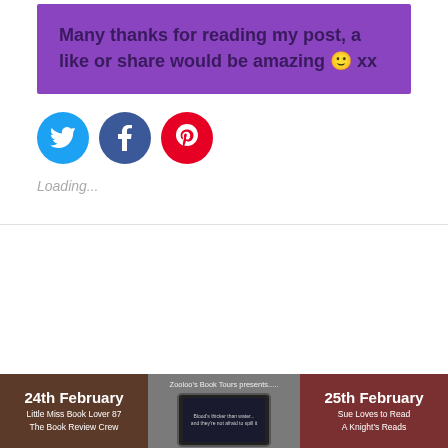Many thanks for reading my post, a like or share would be amazing 🙂 xx
[Figure (infographic): Three social media share buttons: Twitter (blue circle with bird icon), Facebook (blue circle with f icon), Pinterest (red circle with P icon)]
Loading...
[Figure (infographic): Footer banner: 24th February - Little Miss Book Lover 87, The Book Review Crew | Centre: Zooloo's Book Tours presents... with tablet device image | 25th February - Sue Loves to Read, A Knight's Reads]